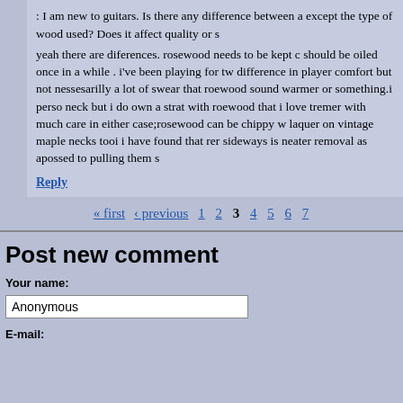: I am new to guitars. Is there any difference between a except the type of wood used? Does it affect quality or s
yeah there are diferences. rosewood needs to be kept c should be oiled once in a while . i've been playing for tw difference in player comfort but not nessesarilly a lot of swear that roewood sound warmer or something.i perso neck but i do own a strat with roewood that i love tremer with much care in either case;rosewood can be chippy w laquer on vintage maple necks tooi i have found that rer sideways is neater removal as apossed to pulling them s
Reply
« first ‹ previous 1 2 3 4 5 6 7
Post new comment
Your name:
Anonymous
E-mail: